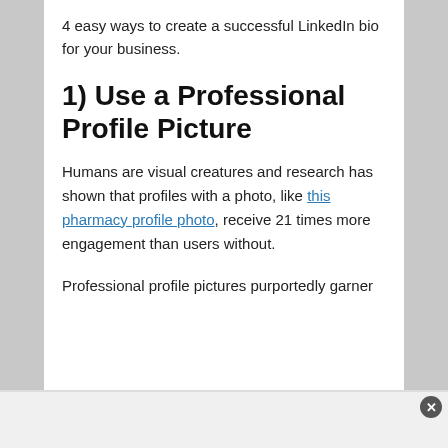4 easy ways to create a successful LinkedIn bio for your business.
1) Use a Professional Profile Picture
Humans are visual creatures and research has shown that profiles with a photo, like this pharmacy profile photo, receive 21 times more engagement than users without.
Professional profile pictures purportedly garner